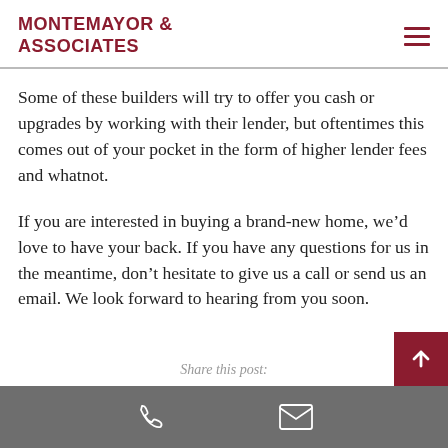MONTEMAYOR & ASSOCIATES
Some of these builders will try to offer you cash or upgrades by working with their lender, but oftentimes this comes out of your pocket in the form of higher lender fees and whatnot.
If you are interested in buying a brand-new home, we'd love to have your back. If you have any questions for us in the meantime, don't hesitate to give us a call or send us an email. We look forward to hearing from you soon.
Share this post: